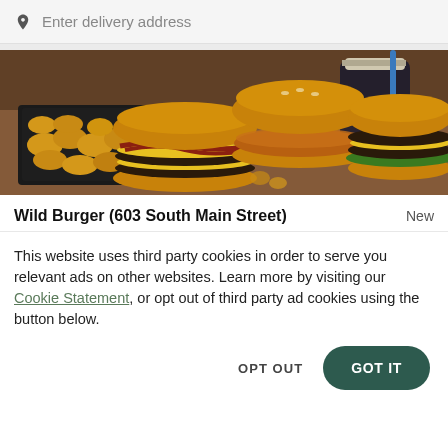Enter delivery address
[Figure (photo): Food photo showing three burgers with tater tots in a black cardboard tray and a drink cup on a wooden surface]
Wild Burger (603 South Main Street)
New
This website uses third party cookies in order to serve you relevant ads on other websites. Learn more by visiting our Cookie Statement, or opt out of third party ad cookies using the button below.
OPT OUT
GOT IT